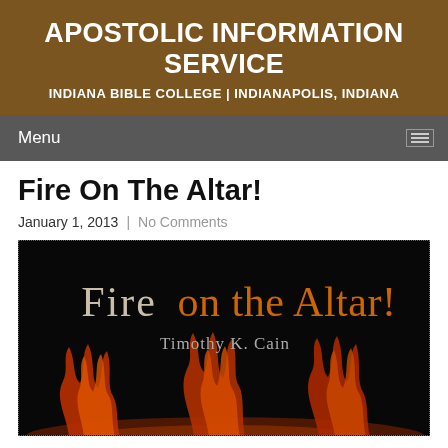APOSTOLIC INFORMATION SERVICE
INDIANA BIBLE COLLEGE | INDIANAPOLIS, INDIANA
Menu
Fire On The Altar!
January 1, 2013  |  No Comments
[Figure (illustration): Book cover for 'Fire on the Altar!' by Timothy K. Cain. Dark black background with stylized text 'Fire on the Altar!' in metallic/orange tones and author name below, with flames visible at the bottom.]
(partial article text visible at bottom)